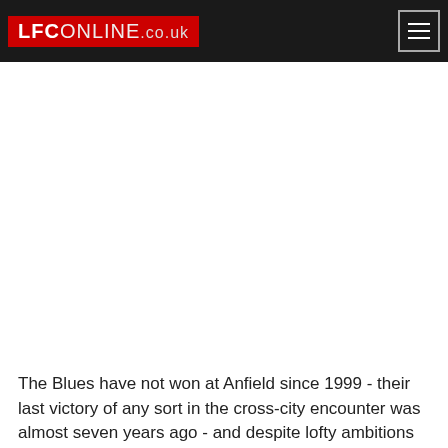LFCONLINE.co.uk
The Blues have not won at Anfield since 1999 - their last victory of any sort in the cross-city encounter was almost seven years ago - and despite lofty ambitions going into the game they never looked like actually ending that